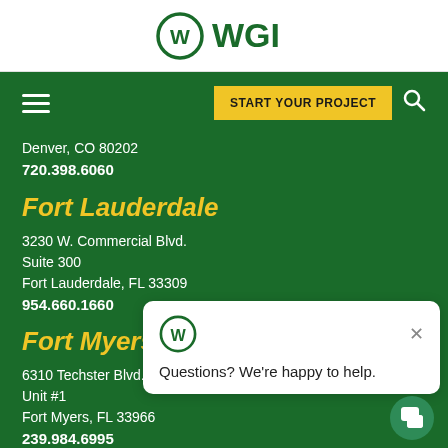[Figure (logo): WGI company logo with circular W mark and WGI text in green]
Denver, CO 80202
720.398.6060
Fort Lauderdale
3230 W. Commercial Blvd.
Suite 300
Fort Lauderdale, FL 33309
954.660.1660
Fort Myers
6310 Techster Blvd.,
Unit #1
Fort Myers, FL 33966
239.984.6995
[Figure (screenshot): Chat widget popup with WGI logo and text: Questions? We're happy to help.]